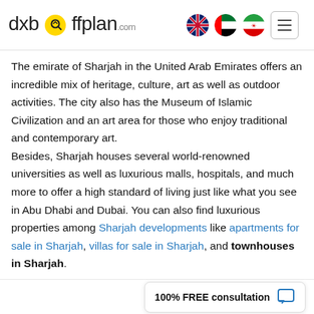dxboffplan.com
The emirate of Sharjah in the United Arab Emirates offers an incredible mix of heritage, culture, art as well as outdoor activities. The city also has the Museum of Islamic Civilization and an art area for those who enjoy traditional and contemporary art.

Besides, Sharjah houses several world-renowned universities as well as luxurious malls, hospitals, and much more to offer a high standard of living just like what you see in Abu Dhabi and Dubai. You can also find luxurious properties among Sharjah developments like apartments for sale in Sharjah, villas for sale in Sharjah, and townhouses in Sharjah.
100% FREE consultation